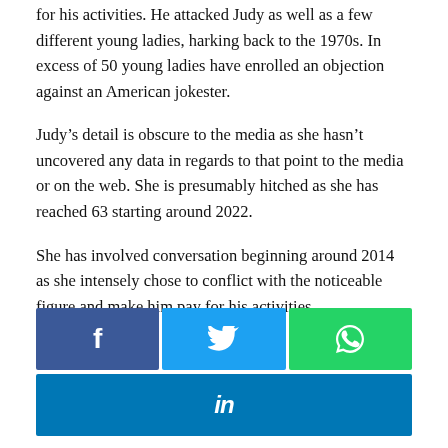for his activities. He attacked Judy as well as a few different young ladies, harking back to the 1970s. In excess of 50 young ladies have enrolled an objection against an American jokester.
Judy’s detail is obscure to the media as she hasn’t uncovered any data in regards to that point to the media or on the web. She is presumably hitched as she has reached 63 starting around 2022.
She has involved conversation beginning around 2014 as she intensely chose to conflict with the noticeable figure and make him pay for his activities.
[Figure (infographic): Social media share buttons: Facebook (dark blue), Twitter (light blue), WhatsApp (green) in a row, and LinkedIn (medium blue) below spanning full width.]